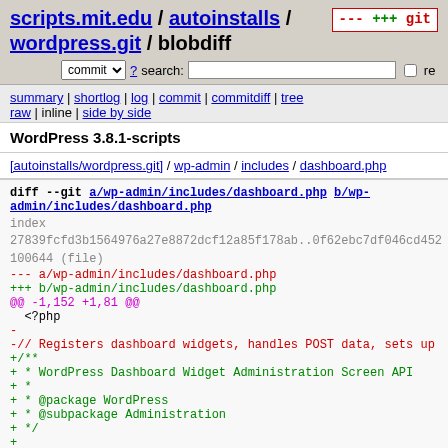scripts.mit.edu / autoinstalls / wordpress.git / blobdiff
commit ? search: re
summary | shortlog | log | commit | commitdiff | tree
raw | inline | side by side
WordPress 3.8.1-scripts
[autoinstalls/wordpress.git] / wp-admin / includes / dashboard.php
diff --git a/wp-admin/includes/dashboard.php b/wp-admin/includes/dashboard.php
index 27839fcfd3b1564976a27e8872dcf12a85f178ab..0f62ebc7df046cd452
100644 (file)
--- a/wp-admin/includes/dashboard.php
+++ b/wp-admin/includes/dashboard.php
@@ -1,152 +1,81 @@
  <?php
-
-// Registers dashboard widgets, handles POST data, sets up
+/**
+ * WordPress Dashboard Widget Administration Screen API
+ *
+ * @package WordPress
+ * @subpackage Administration
+ */
+